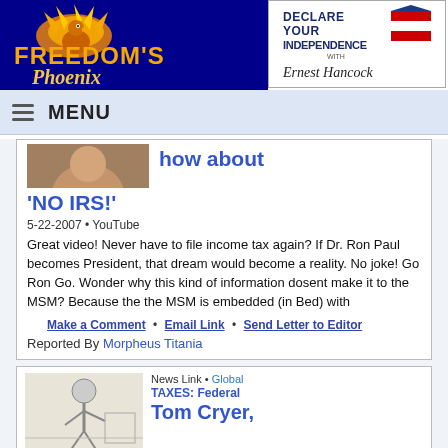[Figure (logo): Freedom's Phoenix logo with phoenix bird on dark blue background]
[Figure (logo): Declare Your Independence with Ernest Hancock logo]
MENU
[Figure (photo): Partial photo cropped at top of card]
how about 'NO IRS!'
5-22-2007 • YouTube
Great video! Never have to file income tax again? If Dr. Ron Paul becomes President, that dream would become a reality. No joke! Go Ron Go. Wonder why this kind of information dosent make it to the MSM? Because the the MSM is embedded (in Bed) with
Make a Comment • Email Link • Send Letter to Editor
Reported By Morpheus Titania
News Link • Global
TAXES: Federal
Tom Cryer,